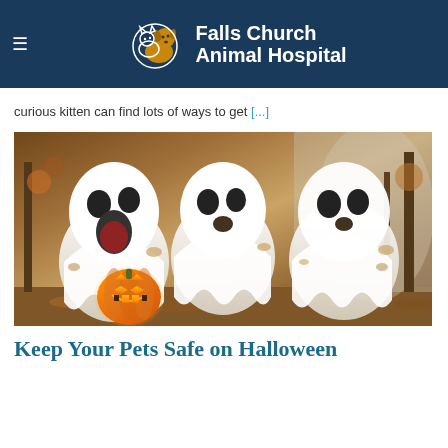Falls Church Animal Hospital
curious kitten can find lots of ways to get [...]
[Figure (photo): Three dogs dressed as ghosts in white sheets with black eye holes, sitting outdoors with autumn leaves in background. One dog has its mouth open. A glowing jack-o-lantern pumpkin sits in front of the left dog.]
Keep Your Pets Safe on Halloween